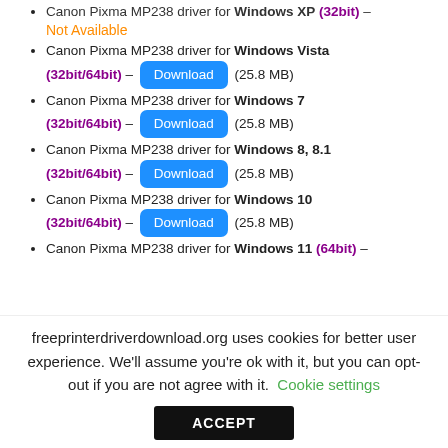Canon Pixma MP238 driver for Windows XP (32bit) – Not Available
Canon Pixma MP238 driver for Windows Vista (32bit/64bit) – Download (25.8 MB)
Canon Pixma MP238 driver for Windows 7 (32bit/64bit) – Download (25.8 MB)
Canon Pixma MP238 driver for Windows 8, 8.1 (32bit/64bit) – Download (25.8 MB)
Canon Pixma MP238 driver for Windows 10 (32bit/64bit) – Download (25.8 MB)
Canon Pixma MP238 driver for Windows 11 (64bit) –
freeprinterdriverdownload.org uses cookies for better user experience. We'll assume you're ok with it, but you can opt-out if you are not agree with it. Cookie settings
ACCEPT